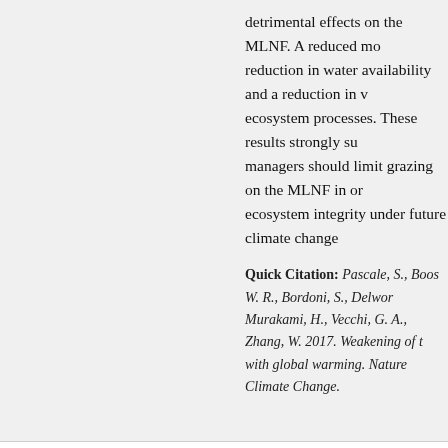detrimental effects on the MLNF. A reduced mo... reduction in water availability and a reduction in v... ecosystem processes. These results strongly su... managers should limit grazing on the MLNF in or... ecosystem integrity under future climate change...
Quick Citation: Pascale, S., Boos W. R., Bordoni, S., Delwo... Murakami, H., Vecchi, G. A., Zhang, W. 2017. Weakening of t... with global warming. Nature Climate Change.
Research: Rotational grazing cannot overco... overstocking
Multiple use: Grazing; forage production • Submitted by Kri...
This research article compares a deferred rotat... pasture arrangement in northeastern Utah. Data... prior and 4 years after implementation of upland...